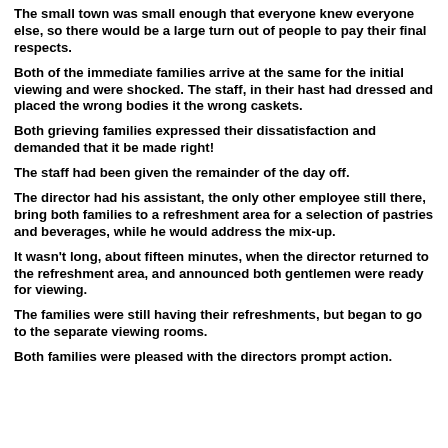The small town was small enough that everyone knew everyone else, so there would be a large turn out of people to pay their final respects.
Both of the immediate families arrive at the same for the initial viewing and were shocked. The staff, in their hast had dressed and placed the wrong bodies it the wrong caskets.
Both grieving families expressed their dissatisfaction and demanded that it be made right!
The staff had been given the remainder of the day off.
The director had his assistant, the only other employee still there, bring both families to a refreshment area for a selection of pastries and beverages, while he would address the mix-up.
It wasn't long, about fifteen minutes, when the director returned to the refreshment area, and announced both gentlemen were ready for viewing.
The families were still having their refreshments, but began to go to the separate viewing rooms.
Both families were pleased with the directors prompt action.